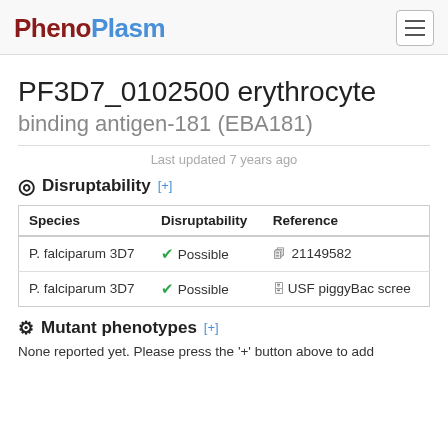PhenoPlasm
PF3D7_0102500 erythrocyte binding antigen-181 (EBA181)
Last updated 7 years ago
Disruptability [+]
| Species | Disruptability | Reference |
| --- | --- | --- |
| P. falciparum 3D7 | ✔ Possible | 21149582 |
| P. falciparum 3D7 | ✔ Possible | USF piggyBac scree |
Mutant phenotypes [+]
None reported yet. Please press the '+' button above to add